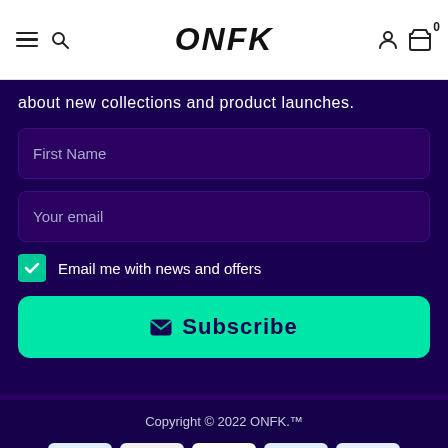ONFK — navigation header with menu, search, account, and cart icons
about new collections and product launches.
First Name
Your email
Email me with news and offers
Subscribe
Copyright © 2022 ONFK.™
[Figure (other): Payment method icons: American Express, Apple Pay, up-arrow button, PayPal, Visa]